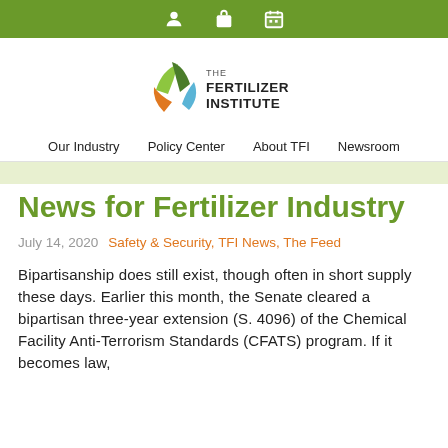Navigation bar with icons: user, bag, calendar
[Figure (logo): The Fertilizer Institute logo with colorful leaf/shield icon and text THE FERTILIZER INSTITUTE]
Our Industry | Policy Center | About TFI | Newsroom
News for Fertilizer Industry
July 14, 2020   Safety & Security, TFI News, The Feed
Bipartisanship does still exist, though often in short supply these days. Earlier this month, the Senate cleared a bipartisan three-year extension (S. 4096) of the Chemical Facility Anti-Terrorism Standards (CFATS) program. If it becomes law,